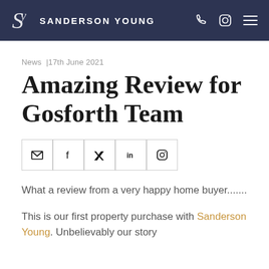SANDERSON YOUNG
News | 17th June 2021
Amazing Review for Gosforth Team
What a review from a very happy home buyer.......
This is our first property purchase with Sanderson Young. Unbelievably our story